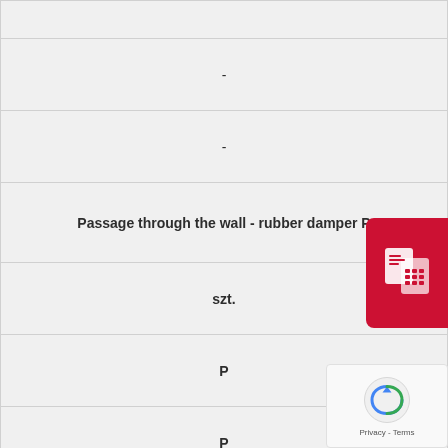| - |
| - |
| Passage through the wall - rubber damper P |
| szt. |
| P |
| P |